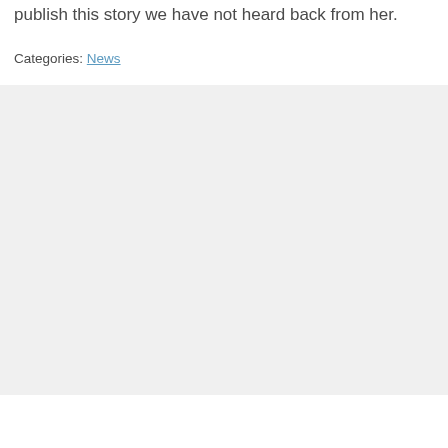publish this story we have not heard back from her.
Categories: News